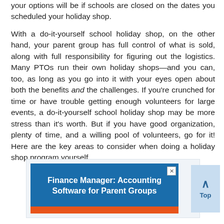your options will be if schools are closed on the dates you scheduled your holiday shop.
With a do-it-yourself school holiday shop, on the other hand, your parent group has full control of what is sold, along with full responsibility for figuring out the logistics. Many PTOs run their own holiday shops—and you can, too, as long as you go into it with your eyes open about both the benefits and the challenges. If you're crunched for time or have trouble getting enough volunteers for large events, a do-it-yourself school holiday shop may be more stress than it's worth. But if you have good organization, plenty of time, and a willing pool of volunteers, go for it! Here are the key areas to consider when doing a holiday shop program yourself.
[Figure (infographic): Advertisement banner for Finance Manager: Accounting Software for Parent Groups. Blue background with white bold text, orange strip at bottom. Close button (X) in top right corner.]